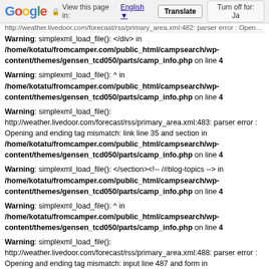Google | View this page in: English | Translate | Turn off for: Ja
http://weather.livedoor.com/forecast/rss/primary_area.xml:482: parser error : Opening and ending tag mismatch: link line 36 and div in /home/kotatu/fromcamper.com/public_html/campsearch/wp-content/themes/gensen_tcd050/parts/camp_info.php on line 4
Warning: simplexml_load_file(): </div> in /home/kotatu/fromcamper.com/public_html/campsearch/wp-content/themes/gensen_tcd050/parts/camp_info.php on line 4
Warning: simplexml_load_file(): ^ in /home/kotatu/fromcamper.com/public_html/campsearch/wp-content/themes/gensen_tcd050/parts/camp_info.php on line 4
Warning: simplexml_load_file(): http://weather.livedoor.com/forecast/rss/primary_area.xml:483: parser error : Opening and ending tag mismatch: link line 35 and section in /home/kotatu/fromcamper.com/public_html/campsearch/wp-content/themes/gensen_tcd050/parts/camp_info.php on line 4
Warning: simplexml_load_file(): </section><!-- /#blog-topics --> in /home/kotatu/fromcamper.com/public_html/campsearch/wp-content/themes/gensen_tcd050/parts/camp_info.php on line 4
Warning: simplexml_load_file(): ^ in /home/kotatu/fromcamper.com/public_html/campsearch/wp-content/themes/gensen_tcd050/parts/camp_info.php on line 4
Warning: simplexml_load_file(): http://weather.livedoor.com/forecast/rss/primary_area.xml:488: parser error : Opening and ending tag mismatch: input line 487 and form in /home/kotatu/fromcamper.com/public_html/campsearch/wp-content/themes/gensen_tcd050/parts/camp_info.php on line 4
Warning: simplexml_load_file(): </form> in /home/kotatu/fromcamper.com/public_html/campsearch/wp-content/themes/gensen_tcd050/parts/camp_info.php